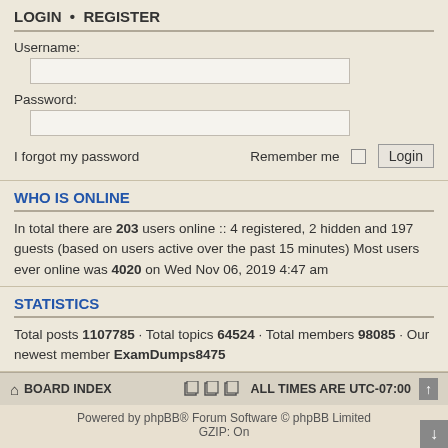LOGIN • REGISTER
Username:
Password:
I forgot my password   Remember me  Login
WHO IS ONLINE
In total there are 203 users online :: 4 registered, 2 hidden and 197 guests (based on users active over the past 15 minutes) Most users ever online was 4020 on Wed Nov 06, 2019 4:47 am
STATISTICS
Total posts 1107785 • Total topics 64524 • Total members 98085 • Our newest member ExamDumps8475
BOARD INDEX   ALL TIMES ARE UTC-07:00
Powered by phpBB® Forum Software © phpBB Limited GZIP: On